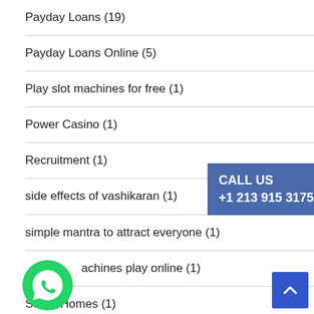Payday Loans (19)
Payday Loans Online (5)
Play slot machines for free (1)
Power Casino (1)
Recruitment (1)
side effects of vashikaran (1)
simple mantra to attract everyone (1)
slot machines play online (1)
Sober Homes (1)
[Figure (infographic): Blue call-to-action box with text CALL US and phone number +1 213 915 3175]
[Figure (logo): WhatsApp green circle logo icon]
[Figure (other): Blue scroll-to-top button with upward caret arrow]